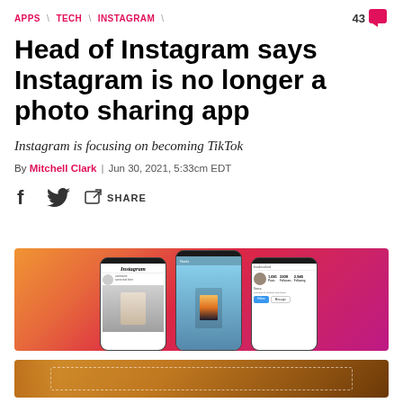APPS \ TECH \ INSTAGRAM   43
Head of Instagram says Instagram is no longer a photo sharing app
Instagram is focusing on becoming TikTok
By Mitchell Clark | Jun 30, 2021, 5:33cm EDT
[Figure (screenshot): Three iPhone mockups showing different Instagram screens (home feed, video/reels, profile) on an orange-to-magenta gradient background]
[Figure (photo): Close-up photo of a brown leather wallet with white stitching on a wooden surface]